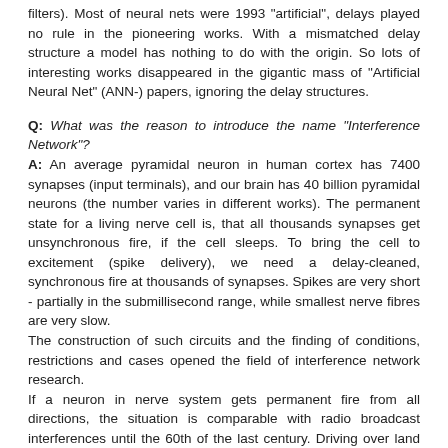filters). Most of neural nets were 1993 "artificial", delays played no rule in the pioneering works. With a mismatched delay structure a model has nothing to do with the origin. So lots of interesting works disappeared in the gigantic mass of "Artificial Neural Net" (ANN-) papers, ignoring the delay structures.
Q: What was the reason to introduce the name "Interference Network"?
A: An average pyramidal neuron in human cortex has 7400 synapses (input terminals), and our brain has 40 billion pyramidal neurons (the number varies in different works). The permanent state for a living nerve cell is, that all thousands synapses get unsynchronous fire, if the cell sleeps. To bring the cell to excitement (spike delivery), we need a delay-cleaned, synchronous fire at thousands of synapses. Spikes are very short - partially in the submillisecond range, while smallest nerve fibres are very slow.
The construction of such circuits and the finding of conditions, restrictions and cases opened the field of interference network research.
If a neuron in nerve system gets permanent fire from all directions, the situation is comparable with radio broadcast interferences until the 60th of the last century. Driving over land on Medium Wave (MW) people heared sometimes only noises, whisper or whistling in the car-radio.
Two places in a nerve net (for example a position of skin with a place in brain) can only communicate, if